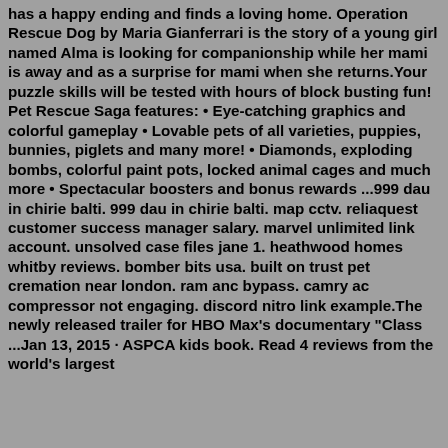has a happy ending and finds a loving home. Operation Rescue Dog by Maria Gianferrari is the story of a young girl named Alma is looking for companionship while her mami is away and as a surprise for mami when she returns.Your puzzle skills will be tested with hours of block busting fun! Pet Rescue Saga features: • Eye-catching graphics and colorful gameplay • Lovable pets of all varieties, puppies, bunnies, piglets and many more! • Diamonds, exploding bombs, colorful paint pots, locked animal cages and much more • Spectacular boosters and bonus rewards ...999 dau in chirie balti. 999 dau in chirie balti. map cctv. reliaquest customer success manager salary. marvel unlimited link account. unsolved case files jane 1. heathwood homes whitby reviews. bomber bits usa. built on trust pet cremation near london. ram anc bypass. camry ac compressor not engaging. discord nitro link example.The newly released trailer for HBO Max's documentary "Class ...Jan 13, 2015 · ASPCA kids book. Read 4 reviews from the world's largest